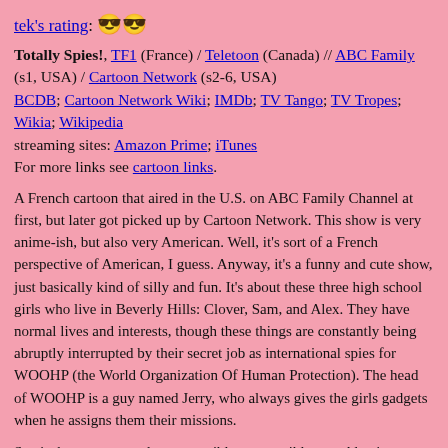tek's rating: 😎😎
Totally Spies!, TF1 (France) / Teletoon (Canada) // ABC Family (s1, USA) / Cartoon Network (s2-6, USA)
BCDB; Cartoon Network Wiki; IMDb; TV Tango; TV Tropes; Wikia; Wikipedia
streaming sites: Amazon Prime; iTunes
For more links see cartoon links.
A French cartoon that aired in the U.S. on ABC Family Channel at first, but later got picked up by Cartoon Network. This show is very anime-ish, but also very American. Well, it's sort of a French perspective of American, I guess. Anyway, it's a funny and cute show, just basically kind of silly and fun. It's about these three high school girls who live in Beverly Hills: Clover, Sam, and Alex. They have normal lives and interests, though these things are constantly being abruptly interrupted by their secret job as international spies for WOOHP (the World Organization Of Human Protection). The head of WOOHP is a guy named Jerry, who always gives the girls gadgets when he assigns them their missions.
Sam's the smartest and most sensible, responsible one. Alex is athletic, and the sweet, naive one. Clover's the most stereotypically Valley Girl one, totally into shopping and boys and whatever.